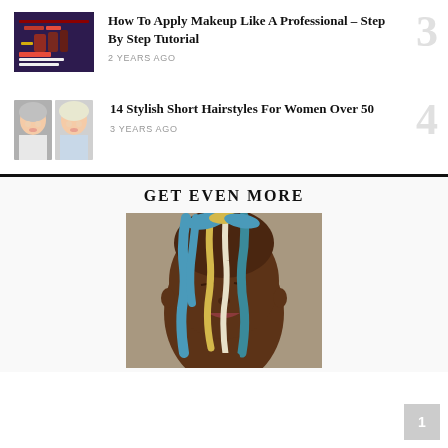[Figure (photo): Thumbnail for makeup tutorial article: dark background with makeup products, text 'Step by Step Guide for Applying Makeup Like a Pro']
How To Apply Makeup Like A Professional – Step By Step Tutorial
2 YEARS AGO
[Figure (photo): Two thumbnail photos of women with short hairstyles]
14 Stylish Short Hairstyles For Women Over 50
3 YEARS AGO
GET EVEN MORE
[Figure (photo): Close-up portrait of a dark-skinned person with colorful paint (blue, yellow, white) dripping down their face against a tan/grey background]